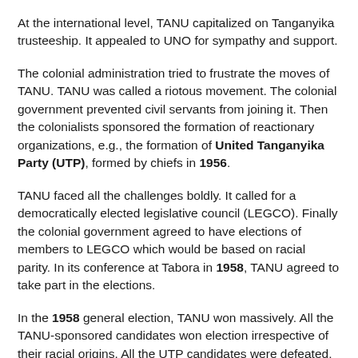At the international level, TANU capitalized on Tanganyika trusteeship. It appealed to UNO for sympathy and support.
The colonial administration tried to frustrate the moves of TANU. TANU was called a riotous movement. The colonial government prevented civil servants from joining it. Then the colonialists sponsored the formation of reactionary organizations, e.g., the formation of United Tanganyika Party (UTP), formed by chiefs in 1956.
TANU faced all the challenges boldly. It called for a democratically elected legislative council (LEGCO). Finally the colonial government agreed to have elections of members to LEGCO which would be based on racial parity. In its conference at Tabora in 1958, TANU agreed to take part in the elections.
In the 1958 general election, TANU won massively. All the TANU-sponsored candidates won election irrespective of their racial origins. All the UTP candidates were defeated, and the party died altogether.